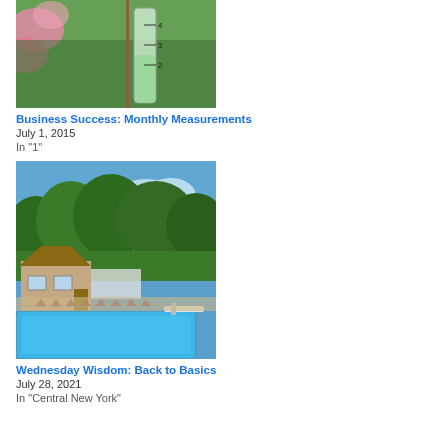[Figure (photo): A rain gauge with pink flowers in the background, showing measurement markings at 2, 3, and 4 inches]
Business Success: Monthly Measurements
July 1, 2015
In "1"
[Figure (photo): A backyard swimming pool with a diving board, a house with patio furniture, and lush green trees in the background under a blue sky]
Wednesday Wisdom: Back to Basics
July 28, 2021
In "Central New York"